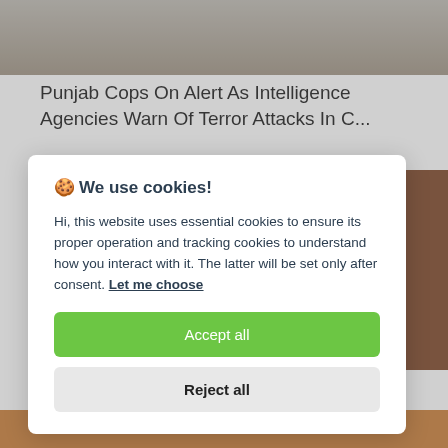[Figure (photo): Top portion of a news article page showing a blurred outdoor background image with muted grey-brown tones, partially cropped at the top.]
Punjab Cops On Alert As Intelligence Agencies Warn Of Terror Attacks In C...
🍪 We use cookies!

Hi, this website uses essential cookies to ensure its proper operation and tracking cookies to understand how you interact with it. The latter will be set only after consent. Let me choose

Accept all

Reject all
[Figure (photo): Bottom strip showing a warm orange-brown background, partially visible at the bottom of the page.]